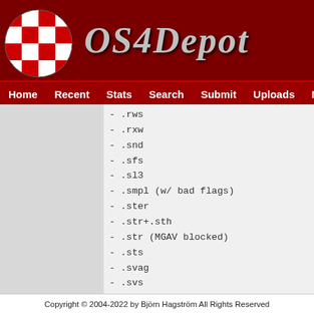[Figure (logo): OS4Depot website header with red checkered globe logo and italic site title OS4Depot in gray on dark red background]
Home   Recent   Stats   Search   Submit   Uploads   Mirrors   C…
- .rws
- .rxw
- .snd
- .sfs
- .sl3
- .smpl (w/ bad flags)
- .ster
- .str+.sth
- .str (MGAV blocked)
- .sts
- .svag
- .svs
- .tec (w/ bad flags)
- .tk5 (w/ bad flags)
- .vas
- .vag
- .vgs (w/ bad flags)
- .vig
- .vpk
- .vs
Copyright © 2004-2022 by Björn Hagström All Rights Reserved